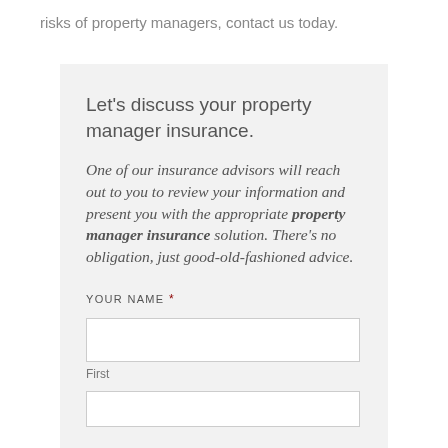risks of property managers, contact us today.
Let's discuss your property manager insurance.
One of our insurance advisors will reach out to you to review your information and present you with the appropriate property manager insurance solution. There's no obligation, just good-old-fashioned advice.
YOUR NAME *
First